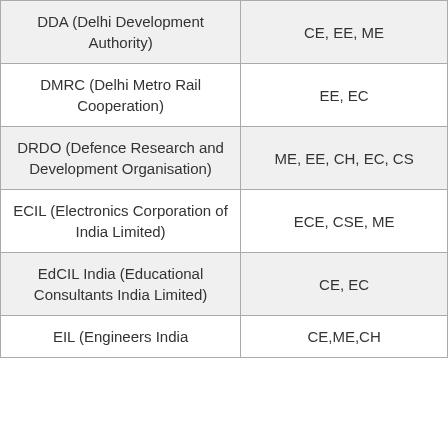| DDA (Delhi Development Authority) | CE, EE, ME |
| DMRC (Delhi Metro Rail Cooperation) | EE, EC |
| DRDO (Defence Research and Development Organisation) | ME, EE, CH, EC, CS |
| ECIL (Electronics Corporation of India Limited) | ECE, CSE, ME |
| EdCIL India (Educational Consultants India Limited) | CE, EC |
| EIL (Engineers India | CE,ME,CH |